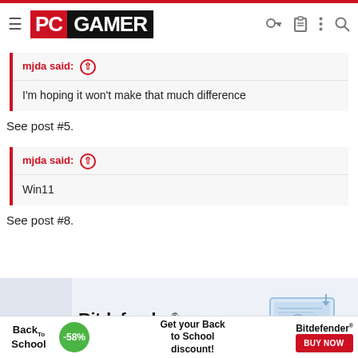PC GAMER
mjda said: ↑
I'm hoping it won't make that much difference
See post #5.
mjda said: ↑
Win11
See post #8.
[Figure (other): Bitdefender Back to School advertisement banner with laptop illustration, -58% discount circle, and Buy Now button]